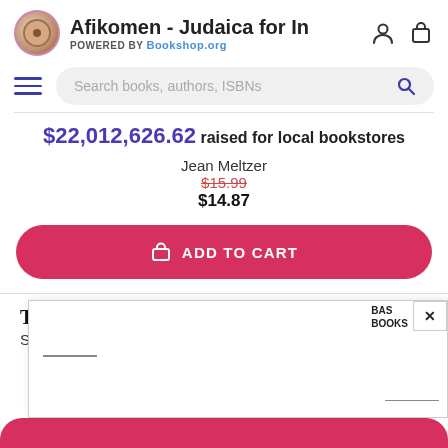Afikomen - Judaica for In | POWERED BY Bookshop.org
Search books, authors, ISBNs
$22,012,626.62 raised for local bookstores
Jean Meltzer
$15.99
$14.87
ADD TO CART
The Ghetto Within
Santiago H. Amigorena
[Figure (screenshot): Popup overlay with BAS BOOKS label and close X button, showing partial book popup with horizontal lines]